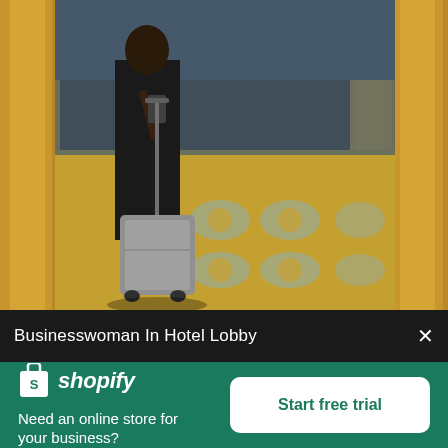[Figure (photo): A businesswoman in a hotel lobby, dressed in dark clothing, pulling a silver/grey hard-shell rolling suitcase on an ornate patterned carpet with gold and teal tones. Golden decorative columns flank the corridor. She appears to be looking at a phone or device.]
Businesswoman In Hotel Lobby
[Figure (logo): Shopify logo - white bag icon with S and italic shopify wordmark in white]
Need an online store for your business?
Start free trial